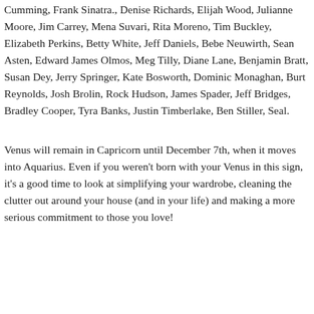Cumming, Frank Sinatra., Denise Richards, Elijah Wood, Julianne Moore, Jim Carrey, Mena Suvari, Rita Moreno, Tim Buckley, Elizabeth Perkins, Betty White, Jeff Daniels, Bebe Neuwirth, Sean Asten, Edward James Olmos, Meg Tilly, Diane Lane, Benjamin Bratt, Susan Dey, Jerry Springer, Kate Bosworth, Dominic Monaghan, Burt Reynolds, Josh Brolin, Rock Hudson, James Spader, Jeff Bridges, Bradley Cooper, Tyra Banks, Justin Timberlake, Ben Stiller, Seal.
Venus will remain in Capricorn until December 7th, when it moves into Aquarius. Even if you weren't born with your Venus in this sign, it's a good time to look at simplifying your wardrobe, cleaning the clutter out around your house (and in your life) and making a more serious commitment to those you love!